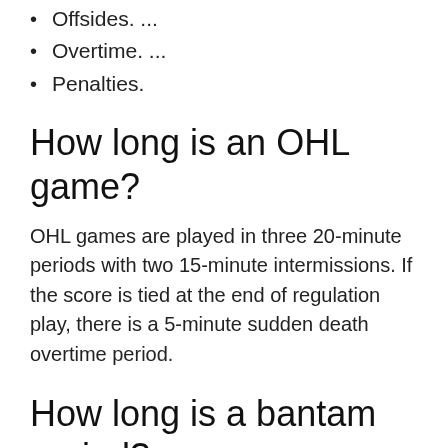Offsides. ...
Overtime. ...
Penalties.
How long is an OHL game?
OHL games are played in three 20-minute periods with two 15-minute intermissions. If the score is tied at the end of regulation play, there is a 5-minute sudden death overtime period.
How long is a bantam period?
The game will consist of 2 fifteen (15) minute run time periods and 1 (12) twelve minute stop time period unless the tournament is